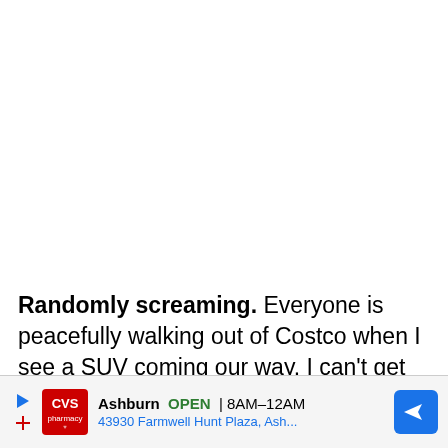Randomly screaming. Everyone is peacefully walking out of Costco when I see a SUV coming our way. I can't get the words out fast enough as I see my four year old turn to get a wrapper off the ground. In decibels not safe for the human ears I screa...
[Figure (screenshot): CVS Pharmacy advertisement bar showing: Ashburn OPEN 8AM-12AM, 43930 Farmwell Hunt Plaza, Ash..., with CVS pharmacy logo, play/navigation buttons, and a blue direction arrow icon]